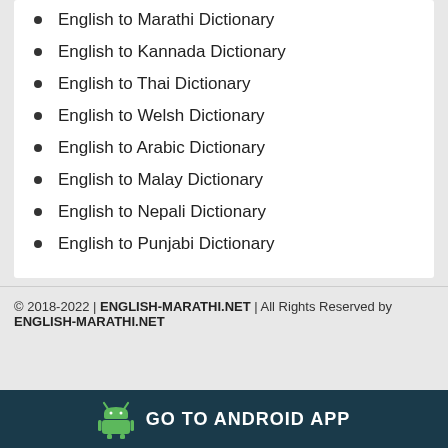English to Marathi Dictionary
English to Kannada Dictionary
English to Thai Dictionary
English to Welsh Dictionary
English to Arabic Dictionary
English to Malay Dictionary
English to Nepali Dictionary
English to Punjabi Dictionary
© 2018-2022 | ENGLISH-MARATHI.NET | All Rights Reserved by ENGLISH-MARATHI.NET
GO TO ANDROID APP